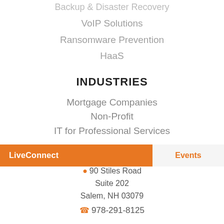Backup & Disaster Recovery
VoIP Solutions
Ransomware Prevention
HaaS
INDUSTRIES
Mortgage Companies
Non-Profit
IT for Professional Services
CONTACT US
90 Stiles Road
Suite 202
Salem, NH 03079
978-291-8125
LiveConnect
Events